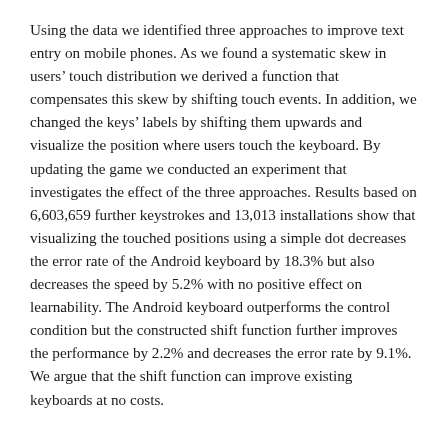Using the data we identified three approaches to improve text entry on mobile phones. As we found a systematic skew in users' touch distribution we derived a function that compensates this skew by shifting touch events. In addition, we changed the keys' labels by shifting them upwards and visualize the position where users touch the keyboard. By updating the game we conducted an experiment that investigates the effect of the three approaches. Results based on 6,603,659 further keystrokes and 13,013 installations show that visualizing the touched positions using a simple dot decreases the error rate of the Android keyboard by 18.3% but also decreases the speed by 5.2% with no positive effect on learnability. The Android keyboard outperforms the control condition but the constructed shift function further improves the performance by 2.2% and decreases the error rate by 9.1%. We argue that the shift function can improve existing keyboards at no costs.